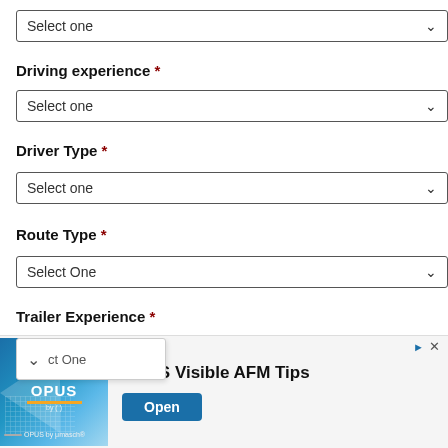[Figure (screenshot): Select one dropdown box at top of form]
Driving experience *
[Figure (screenshot): Select one dropdown for Driving experience]
Driver Type *
[Figure (screenshot): Select one dropdown for Driver Type]
Route Type *
[Figure (screenshot): Select One dropdown for Route Type]
Trailer Experience *
[Figure (screenshot): Partially visible Select One dropdown with popup overlay, and advertisement banner at bottom showing OPUS Visible AFM Tips with Open button]